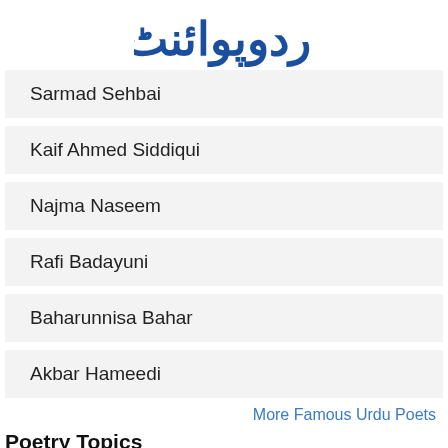Urdu Point (logo in Urdu script)
Sarmad Sehbai
Kaif Ahmed Siddiqui
Najma Naseem
Rafi Badayuni
Baharunnisa Bahar
Akbar Hameedi
More Famous Urdu Poets
Poetry Topics